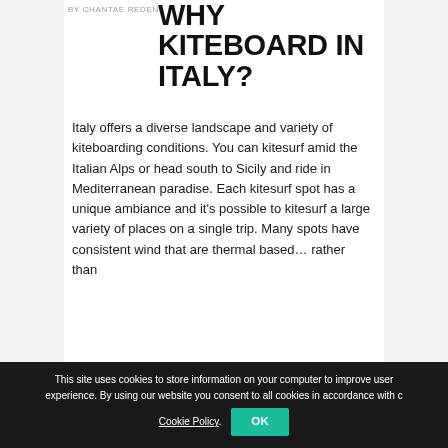BY CHANTAE REDEN
WHY KITEBOARD IN ITALY?
Italy offers a diverse landscape and variety of kiteboarding conditions. You can kitesurf amid the Italian Alps or head south to Sicily and ride in Mediterranean paradise. Each kitesurf spot has a unique ambiance and it's possible to kitesurf a large variety of places on a single trip. Many spots have consistent wind that are thermal based... rather than
This site uses cookies to store information on your computer to improve user experience. By using our website you consent to all cookies in accordance with c Cookie Policy. OK